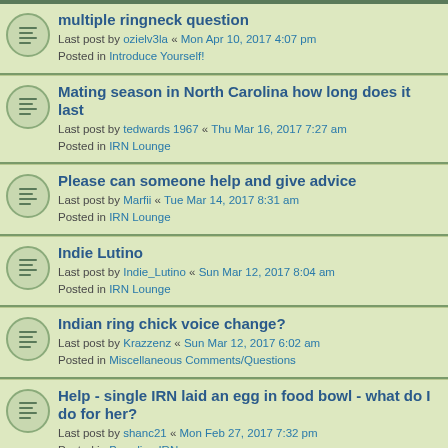multiple ringneck question
Last post by ozielv3la « Mon Apr 10, 2017 4:07 pm
Posted in Introduce Yourself!
Mating season in North Carolina how long does it last
Last post by tedwards 1967 « Thu Mar 16, 2017 7:27 am
Posted in IRN Lounge
Please can someone help and give advice
Last post by Marfii « Tue Mar 14, 2017 8:31 am
Posted in IRN Lounge
Indie Lutino
Last post by Indie_Lutino « Sun Mar 12, 2017 8:04 am
Posted in IRN Lounge
Indian ring chick voice change?
Last post by Krazzenz « Sun Mar 12, 2017 6:02 am
Posted in Miscellaneous Comments/Questions
Help - single IRN laid an egg in food bowl - what do I do for her?
Last post by shanc21 « Mon Feb 27, 2017 7:32 pm
Posted in Breeding IRNs
my indian inr's feathers are wierd.
Last post by Khushika452 « Mon Feb 13, 2017 11:15 pm
Posted in Feather/Bird Health